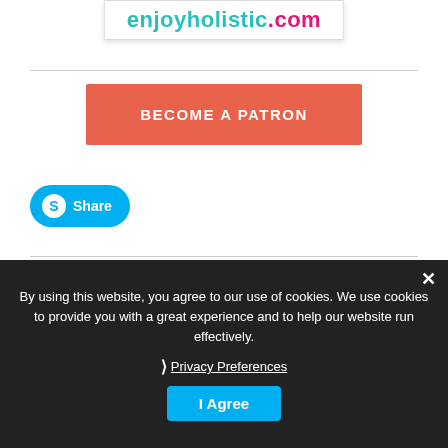[Figure (logo): enjoyholistic.com logo with teal and pink text in a bordered box]
[Figure (other): Orange 'BECOME A PATRON' button]
[Figure (other): Skype Share button in blue with Skype icon]
By using this website, you agree to our use of cookies. We use cookies to provide you with a great experience and to help our website run effectively.
Privacy Preferences
I Agree
DONATE
None of the research projects on this site have yet received funding. This means that the current research is